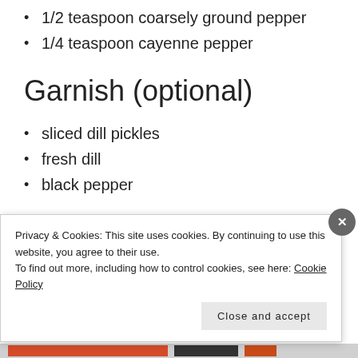1/2 teaspoon coarsely ground pepper
1/4 teaspoon cayenne pepper
Garnish (optional)
sliced dill pickles
fresh dill
black pepper
Directions
Privacy & Cookies: This site uses cookies. By continuing to use this website, you agree to their use.
To find out more, including how to control cookies, see here: Cookie Policy